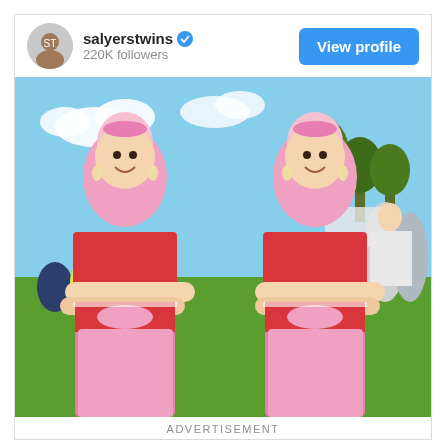[Figure (screenshot): Instagram profile card showing user 'salyerstwins' with verified badge, 220K followers, and a View Profile button. Below is a photo of two women dressed in matching pink and red belly dancer costumes at an outdoor event.]
ADVERTISEMENT